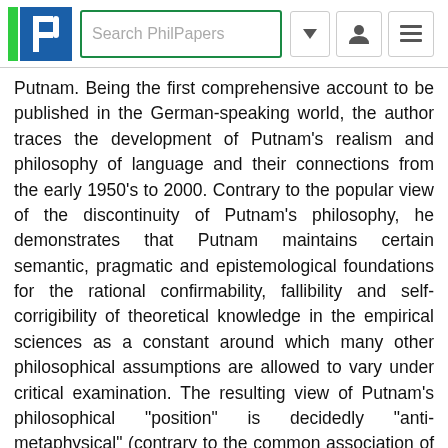[Figure (screenshot): PhilPapers website header with logo, search bar, dropdown arrow, user icon, and hamburger menu icon]
Putnam. Being the first comprehensive account to be published in the German-speaking world, the author traces the development of Putnam's realism and philosophy of language and their connections from the early 1950's to 2000. Contrary to the popular view of the discontinuity of Putnam's philosophy, he demonstrates that Putnam maintains certain semantic, pragmatic and epistemological foundations for the rational confirmability, fallibility and self-corrigibility of theoretical knowledge in the empirical sciences as a constant around which many other philosophical assumptions are allowed to vary under critical examination. The resulting view of Putnam's philosophical "position" is decidedly "anti-metaphysical" (contrary to the common association of his philosophy of language with e.g. Kripke's understanding of realism), but not fully "deflationary" (contrary to the reclamation of his criticism of realist metaphysics as Quinean or Rortyan skepticism). On the other hand, the author generalizes, in the second and third parts of the book, Putnam's now famous theory of meaning and reference to develop a framework for the pragmatics of semantic